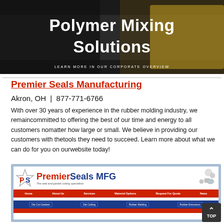[Figure (screenshot): Dark banner image with bold white text reading 'Polymer Mixing Solutions' and a subheading 'LEARN MORE IN OUR CORPORATE OVERVIEW']
Premier Seals Manufacturing
Akron, OH  |  877-771-6766
With over 30 years of experience in the rubber molding industry, we remaincommitted to offering the best of our time and energy to all customers nomatter how large or small. We believe in providing our customers with thetools they need to succeed. Learn more about what we can do for you on ourwebsite today!
[Figure (screenshot): Screenshot of Premier Seals MFG website showing logo with star, red navigation bar with Home, About Us, Services, Material Options, Request For Quote, News, and blue service buttons for Die Cut Gaskets, Die Cutting, Rubber Molding, Rubber Extrusions]